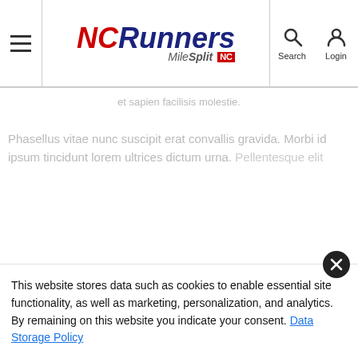NCRunners MileSplit NC — navigation header with Search and Login
et sapien facilisis molestie.
Phasellus vitae nunc suscipit erat convallis gravida. Morbi id ipsum tincidunt lorem ultrices dictum urna. Pellentesque elit
This website stores data such as cookies to enable essential site functionality, as well as marketing, personalization, and analytics. By remaining on this website you indicate your consent. Data Storage Policy